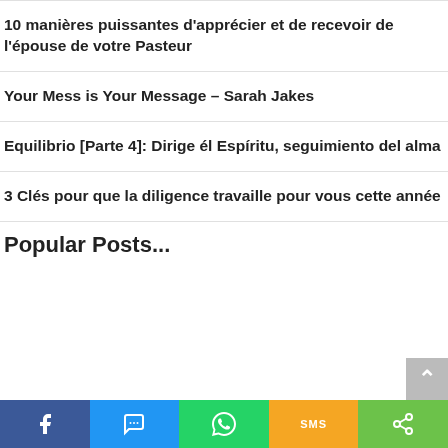10 manières puissantes d'apprécier et de recevoir de l'épouse de votre Pasteur
Your Mess is Your Message – Sarah Jakes
Equilibrio [Parte 4]: Dirige él Espíritu, seguimiento del alma
3 Clés pour que la diligence travaille pour vous cette année
Popular Posts...